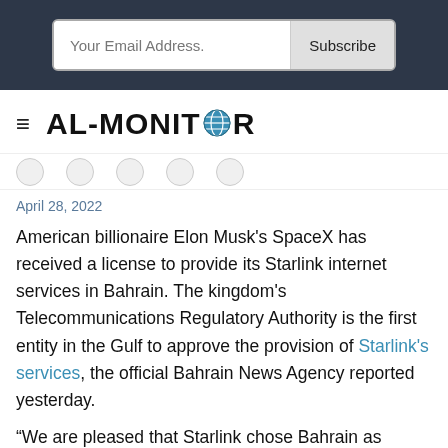Your Email Address.  Subscribe
[Figure (logo): AL-MONITOR logo with globe icon replacing the O]
April 28, 2022
American billionaire Elon Musk's SpaceX has received a license to provide its Starlink internet services in Bahrain. The kingdom's Telecommunications Regulatory Authority is the first entity in the Gulf to approve the provision of Starlink's services, the official Bahrain News Agency reported yesterday.
“We are pleased that Starlink chose Bahrain as